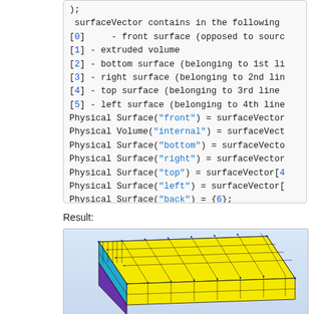[Figure (screenshot): Code block showing surfaceVector assignments and Physical Surface/Volume definitions in Gmsh scripting language]
Result:
[Figure (engineering-diagram): 3D mesh visualization of an extruded hexahedral mesh rendered in a CAE/FEM viewer, showing yellow quad-dominant top surface with blue/cyan side surfaces and dark mesh lines, viewed at isometric angle]